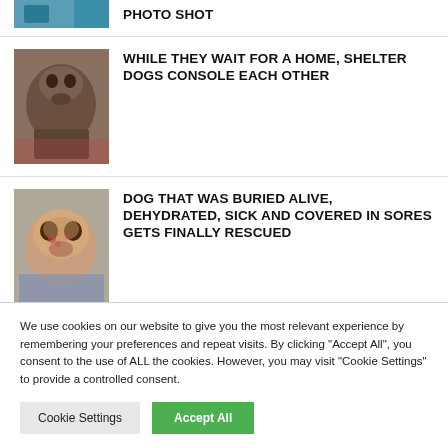[Figure (photo): Partial top image cropped at top of page]
PHOTO SHOT
[Figure (photo): A shelter dog lying down, dark colored dog]
WHILE THEY WAIT FOR A HOME, SHELTER DOGS CONSOLE EACH OTHER
[Figure (photo): Close-up of a sick dog's face, bald and covered in sores, wrapped in blue blanket]
DOG THAT WAS BURIED ALIVE, DEHYDRATED, SICK AND COVERED IN SORES GETS FINALLY RESCUED
We use cookies on our website to give you the most relevant experience by remembering your preferences and repeat visits. By clicking "Accept All", you consent to the use of ALL the cookies. However, you may visit "Cookie Settings" to provide a controlled consent.
Cookie Settings
Accept All